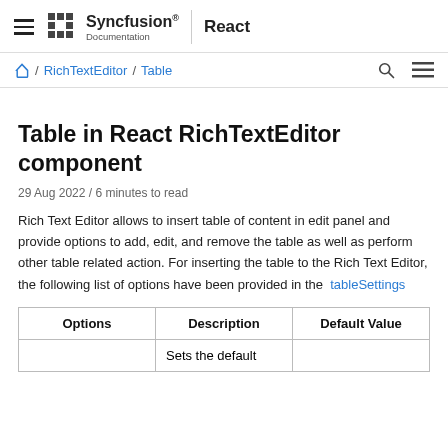Syncfusion Documentation | React
Home / RichTextEditor / Table
Table in React RichTextEditor component
29 Aug 2022 / 6 minutes to read
Rich Text Editor allows to insert table of content in edit panel and provide options to add, edit, and remove the table as well as perform other table related action. For inserting the table to the Rich Text Editor, the following list of options have been provided in the tableSettings
| Options | Description | Default Value |
| --- | --- | --- |
|  | Sets the default |  |